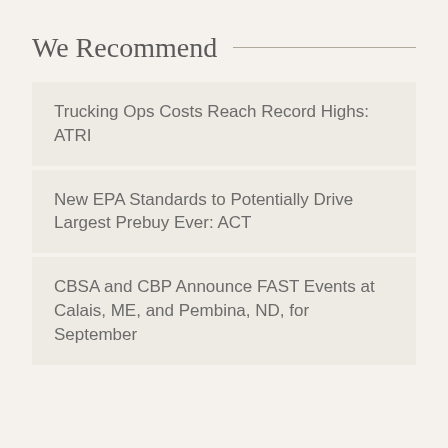We Recommend
Trucking Ops Costs Reach Record Highs: ATRI
New EPA Standards to Potentially Drive Largest Prebuy Ever: ACT
CBSA and CBP Announce FAST Events at Calais, ME, and Pembina, ND, for September